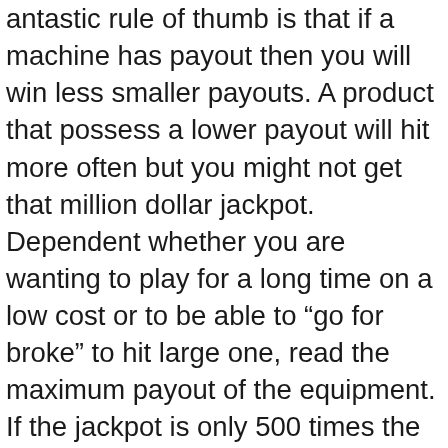antastic rule of thumb is that if a machine has payout then you will win less smaller payouts. A product that possess a lower payout will hit more often but you might not get that million dollar jackpot. Dependent whether you are wanting to play for a long time on a low cost or to be able to “go for broke” to hit large one, read the maximum payout of the equipment. If the jackpot is only 500 times the coin value or less these machines will pay smaller amounts more often and help you playing on the relatively small budget.
Whether you walk off with something or with nothing depends an individual. If in order to really bent on advertising off slot machines, anyone might have to know when walking away. Links . do win slot prizes, and take the biggest mistake of betting their winnings again. When betting, follow the money